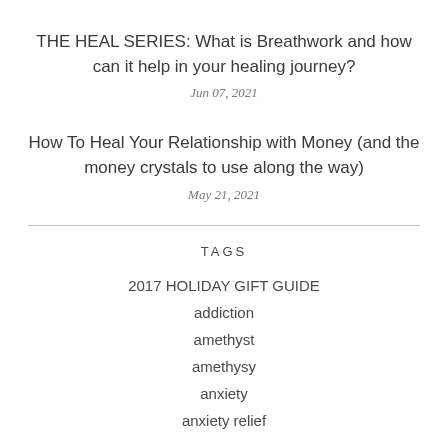THE HEAL SERIES: What is Breathwork and how can it help in your healing journey?
Jun 07, 2021
How To Heal Your Relationship with Money (and the money crystals to use along the way)
May 21, 2021
TAGS
2017 HOLIDAY GIFT GUIDE
addiction
amethyst
amethysy
anxiety
anxiety relief